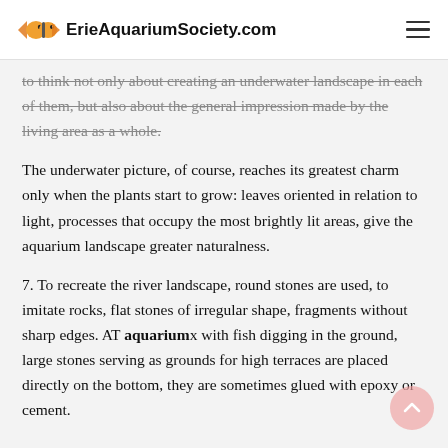ErieAquariumSociety.com
to think not only about creating an underwater landscape in each of them, but also about the general impression made by the living area as a whole.
The underwater picture, of course, reaches its greatest charm only when the plants start to grow: leaves oriented in relation to light, processes that occupy the most brightly lit areas, give the aquarium landscape greater naturalness.
7. To recreate the river landscape, round stones are used, to imitate rocks, flat stones of irregular shape, fragments without sharp edges. AT aquariumx with fish digging in the ground, large stones serving as grounds for high terraces are placed directly on the bottom, they are sometimes glued with epoxy or cement.